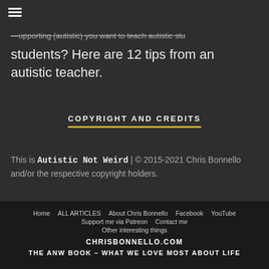≡
—upporting (autistic) you want to teach autistic students? Here are 12 tips from an autistic teacher.
COPYRIGHT AND CREDITS
This is Autistic Not Weird | © 2015-2021 Chris Bonnello and/or the respective copyright holders.
Home  ALL ARTICLES  About Chris Bonnello  Facebook  YouTube  Support me via Patreon  Contact me  Other interesting things  CHRISBONNELLO.COM  THE ANW BOOK – WHAT WE LOVE MOST ABOUT LIFE